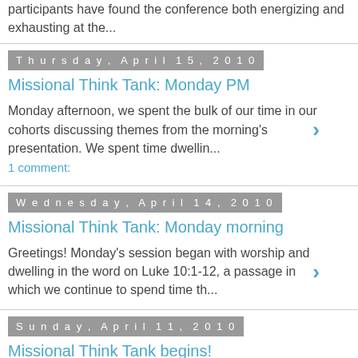participants have found the conference both energizing and exhausting at the...
Thursday, April 15, 2010
Missional Think Tank: Monday PM
Monday afternoon, we spent the bulk of our time in our cohorts discussing themes from the morning's presentation. We spent time dwellin...
1 comment:
Wednesday, April 14, 2010
Missional Think Tank: Monday morning
Greetings! Monday's session began with worship and dwelling in the word on Luke 10:1-12, a passage in which we continue to spend time th...
Sunday, April 11, 2010
Missional Think Tank begins!
The Missional Think Tank kicked off tonight, Sunday, April 11th